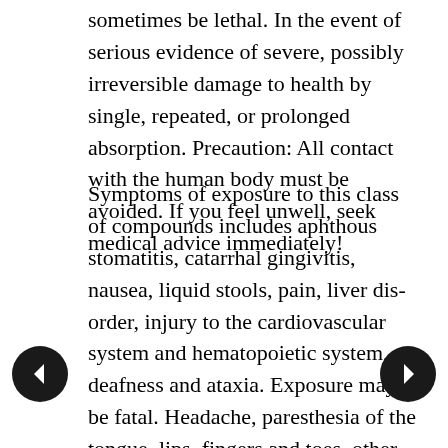sometimes be lethal. In the event of serious evidence of severe, possibly irreversible damage to health by single, repeated, or prolonged absorption. Precaution: All contact with the human body must be avoided. If you feel unwell, seek medical advice immediately!
Symptoms of exposure to this class of compounds includes aphthous stomatitis, catarrhal gingivitis, nausea, liquid stools, pain, liver dis- order, injury to the cardiovascular system and hematopoietic system, deafness and ataxia. Exposure may be fatal. Headache, paresthesia of the tongue, lips, fingers and toes, other non-specific dysfunctions, metallic taste, slight gastrointestinal disturbances, excessive flatus and diarrhea may occur. Acute poisoning may cause gastrointestinal